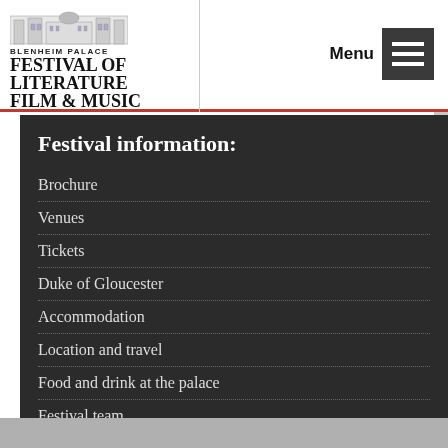Blenheim Palace Festival of Literature Film & Music — Menu
Festival information:
Brochure
Venues
Tickets
Duke of Gloucester
Accommodation
Location and travel
Food and drink at the palace
Festival team
Privacy policy
Contact us